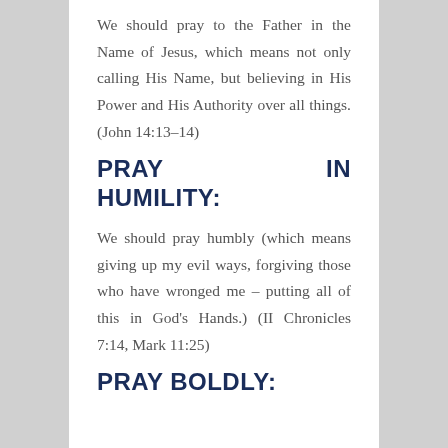We should pray to the Father in the Name of Jesus, which means not only calling His Name, but believing in His Power and His Authority over all things. (John 14:13–14)
PRAY IN HUMILITY:
We should pray humbly (which means giving up my evil ways, forgiving those who have wronged me – putting all of this in God's Hands.) (II Chronicles 7:14, Mark 11:25)
PRAY BOLDLY: